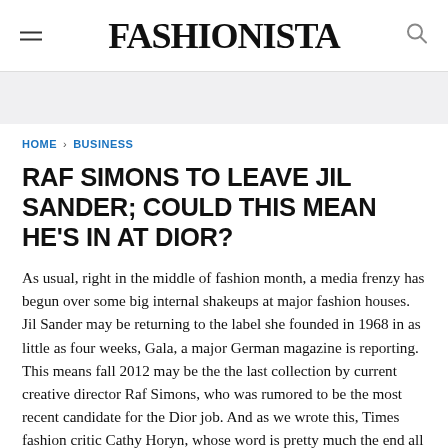FASHIONISTA
HOME > BUSINESS
RAF SIMONS TO LEAVE JIL SANDER; COULD THIS MEAN HE'S IN AT DIOR?
As usual, right in the middle of fashion month, a media frenzy has begun over some big internal shakeups at major fashion houses. Jil Sander may be returning to the label she founded in 1968 in as little as four weeks, Gala, a major German magazine is reporting. This means fall 2012 may be the the last collection by current creative director Raf Simons, who was rumored to be the most recent candidate for the Dior job. And as we wrote this, Times fashion critic Cathy Horyn, whose word is pretty much the end all be all, Tweeted the following: "Jil Sander company has just confirmed that Raf Simons is